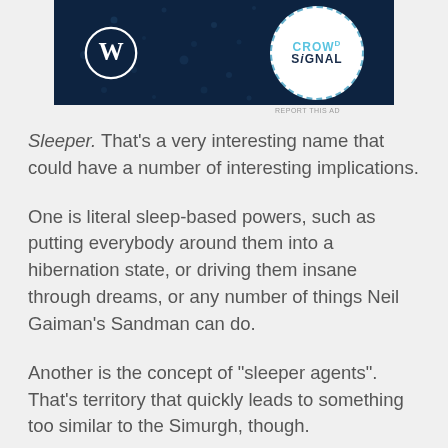[Figure (other): Advertisement banner showing WordPress logo and CrowdSignal logo on a dark navy background with dot pattern]
Sleeper. That's a very interesting name that could have a number of interesting implications.
One is literal sleep-based powers, such as putting everybody around them into a hibernation state, or driving them insane through dreams, or any number of things Neil Gaiman's Sandman can do.
Another is the concept of “sleeper agents”. That's territory that quickly leads to something too similar to the Simurgh, though.
And then there's the possibility that Sleeper is